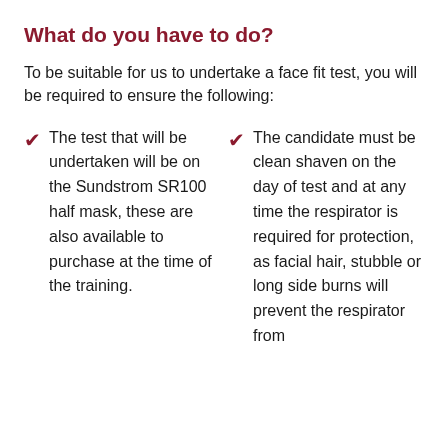What do you have to do?
To be suitable for us to undertake a face fit test, you will be required to ensure the following:
The test that will be undertaken will be on the Sundstrom SR100 half mask, these are also available to purchase at the time of the training.
The candidate must be clean shaven on the day of test and at any time the respirator is required for protection, as facial hair, stubble or long side burns will prevent the respirator from